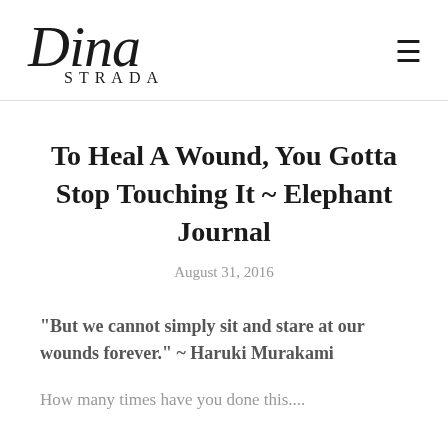Dina Strada
To Heal A Wound, You Gotta Stop Touching It ~ Elephant Journal
August 31, 2016
“But we cannot simply sit and stare at our wounds forever.” ~ Haruki Murakami
How many times have you done this....